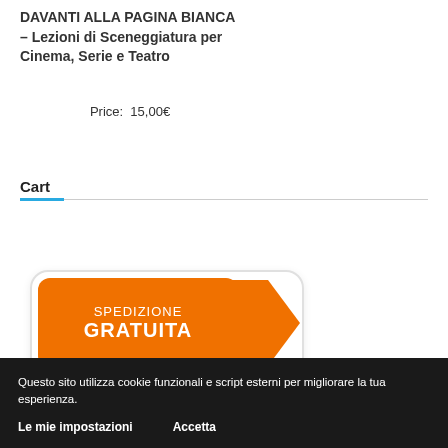DAVANTI ALLA PAGINA BIANCA – Lezioni di Sceneggiatura per Cinema, Serie e Teatro
Price: 15,00€
Cart
[Figure (illustration): Orange badge with rounded white background showing 'SPEDIZIONE GRATUITA' with a folder/arrow tab shape in orange]
Questo sito utilizza cookie funzionali e script esterni per migliorare la tua esperienza.
Le mie impostazioni    Accetta